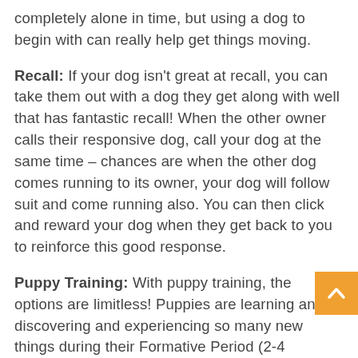completely alone in time, but using a dog to begin with can really help get things moving.
Recall: If your dog isn't great at recall, you can take them out with a dog they get along with well that has fantastic recall! When the other owner calls their responsive dog, call your dog at the same time – chances are when the other dog comes running to its owner, your dog will follow suit and come running also. You can then click and reward your dog when they get back to you to reinforce this good response.
Puppy Training: With puppy training, the options are limitless! Puppies are learning and discovering and experiencing so many new things during their Formative Period (2-4 months). Having a social